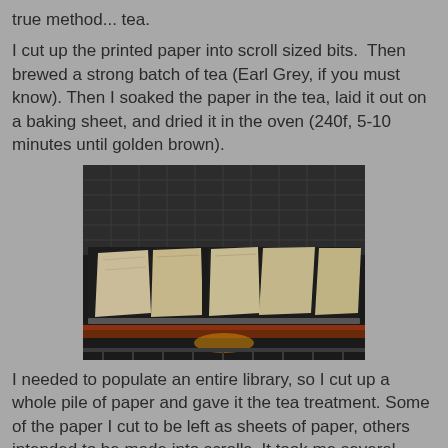true method... tea.
I cut up the printed paper into scroll sized bits.  Then brewed a strong batch of tea (Earl Grey, if you must know). Then I soaked the paper in the tea, laid it out on a baking sheet, and dried it in the oven (240f, 5-10 minutes until golden brown).
[Figure (photo): Photo of tea-soaked paper pieces laid out on a dark baking sheet inside an oven, appearing golden-brown and aged.]
I needed to populate an entire library, so I cut up a whole pile of paper and gave it the tea treatment. Some of the paper I cut to be left as sheets of paper, others intended to be made into scrolls. It took me several hours (an entire NHL game to be precise - Leafs lost, those bastards!)
[Figure (photo): Partial photo at bottom of page showing crafting materials on a surface.]